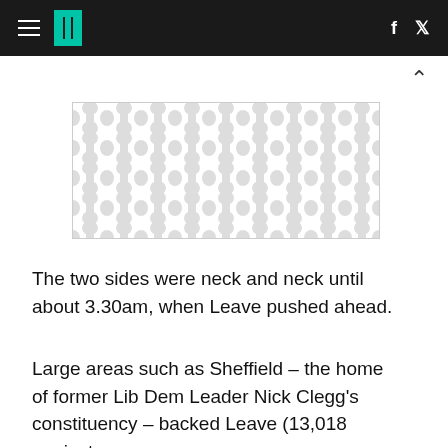HuffPost navigation with hamburger menu, logo, Facebook and Twitter icons
[Figure (illustration): Decorative ad placeholder with grey repeating hourglass/pebble pattern on white background]
The two sides were neck and neck until about 3.30am, when Leave pushed ahead.
Large areas such as Sheffield – the home of former Lib Dem Leader Nick Clegg's constituency – backed Leave (13,018 against